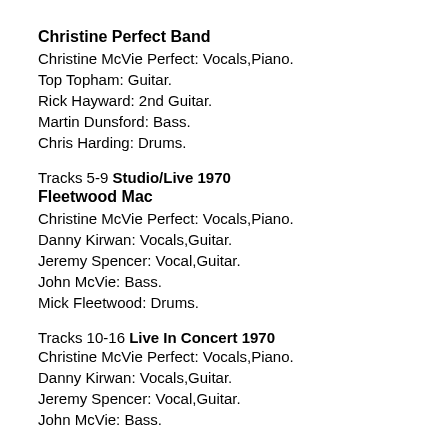Christine Perfect Band
Christine McVie Perfect: Vocals,Piano.
Top Topham: Guitar.
Rick Hayward: 2nd Guitar.
Martin Dunsford: Bass.
Chris Harding: Drums.
Tracks 5-9 Studio/Live 1970
Fleetwood Mac
Christine McVie Perfect: Vocals,Piano.
Danny Kirwan: Vocals,Guitar.
Jeremy Spencer: Vocal,Guitar.
John McVie: Bass.
Mick Fleetwood: Drums.
Tracks 10-16 Live In Concert 1970
Christine McVie Perfect: Vocals,Piano.
Danny Kirwan: Vocals,Guitar.
Jeremy Spencer: Vocal,Guitar.
John McVie: Bass.